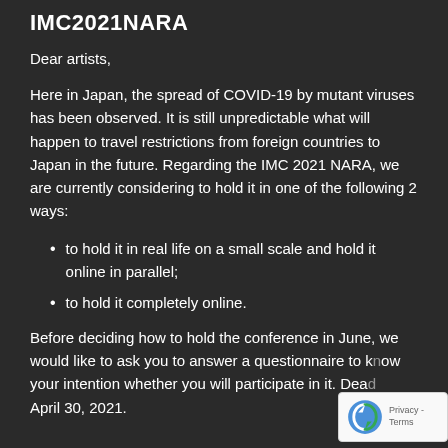IMC2021NARA
Dear artists,
Here in Japan, the spread of COVID-19 by mutant viruses has been observed. It is still unpredictable what will happen to travel restrictions from foreign countries to Japan in the future. Regarding the IMC 2021 NARA, we are currently considering to hold it in one of the following 2 ways:
to hold it in real life on a small scale and hold it online in parallel;
to hold it completely online.
Before deciding how to hold the conference in June, we would like to ask you to answer a questionnaire to know your intention whether you will participate in it. Dead... April 30, 2021.